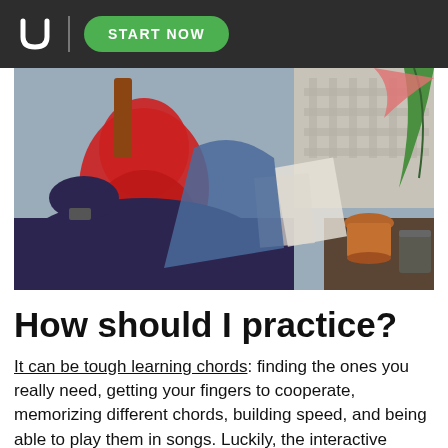START NOW
[Figure (photo): Person sitting and playing a red electric guitar, photographed from above and behind. Background includes a terracotta pot, green plant, and patterned lattice wall.]
How should I practice?
It can be tough learning chords: finding the ones you really need, getting your fingers to cooperate, memorizing different chords, building speed, and being able to play them in songs. Luckily, the interactive guitar-learning app Yousician is an excellent way to do this. Yousician has teacher-crafted lessons to help you learn